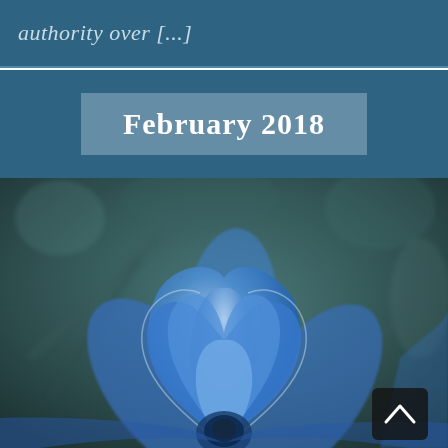authority over [...]
February 2018
[Figure (photo): Close-up macro photograph of a blue flower (anemone) with soft focus background in muted teal and grey tones. The flower petals are vivid blue/purple with white edges, set against a blurred dark teal background with soft bokeh.]